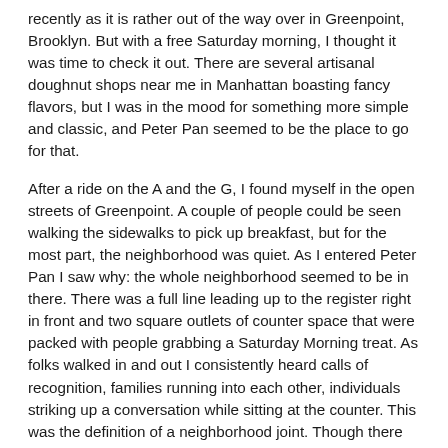recently as it is rather out of the way over in Greenpoint, Brooklyn. But with a free Saturday morning, I thought it was time to check it out. There are several artisanal doughnut shops near me in Manhattan boasting fancy flavors, but I was in the mood for something more simple and classic, and Peter Pan seemed to be the place to go for that.
After a ride on the A and the G, I found myself in the open streets of Greenpoint. A couple of people could be seen walking the sidewalks to pick up breakfast, but for the most part, the neighborhood was quiet. As I entered Peter Pan I saw why: the whole neighborhood seemed to be in there. There was a full line leading up to the register right in front and two square outlets of counter space that were packed with people grabbing a Saturday Morning treat. As folks walked in and out I consistently heard calls of recognition, families running into each other, individuals striking up a conversation while sitting at the counter. This was the definition of a neighborhood joint. Though there were many options for both the yeast and cake variety, I decided a classic spot demanded some classic flavors. I got an old-fashioned cake, Boston cream, and a small coffee (all for only $4! That's the average price for a single doughnut at most other places!) and grabbed an open stool by the counter.